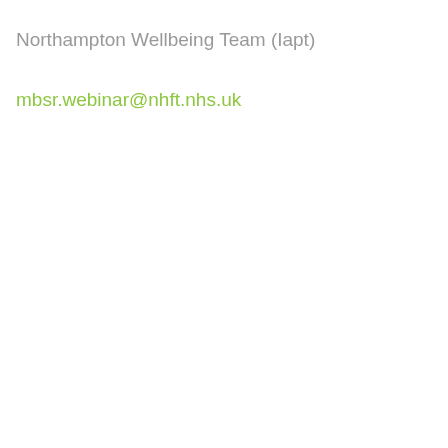Northampton Wellbeing Team (Iapt)
mbsr.webinar@nhft.nhs.uk